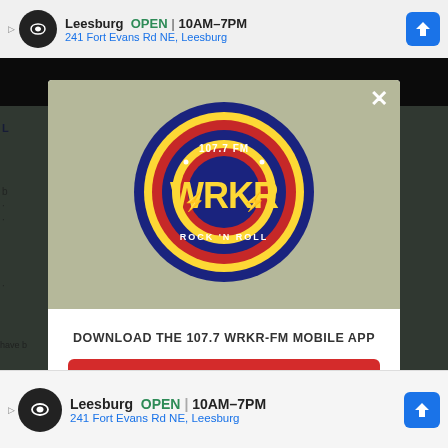[Figure (screenshot): Top advertisement banner: Leesburg OPEN 10AM-7PM, 241 Fort Evans Rd NE, Leesburg with infinity logo and navigation arrow icon]
[Figure (logo): 107.7 FM WRKR Rock N Roll radio station circular logo in blue/red/yellow]
DOWNLOAD THE 107.7 WRKR-FM MOBILE APP
GET OUR FREE MOBILE APP
Also listen on:  amazon alexa
[Figure (screenshot): Bottom advertisement banner: Leesburg OPEN 10AM-7PM, 241 Fort Evans Rd NE, Leesburg with infinity logo and navigation arrow icon]